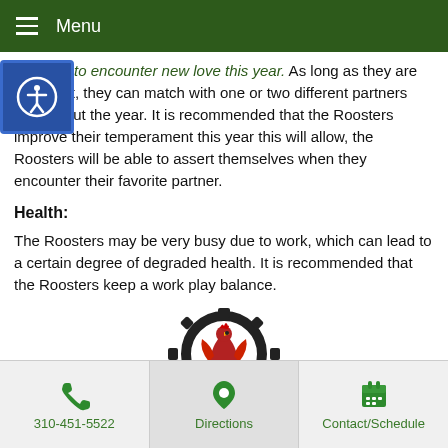Menu
chances to encounter new love this year. As long as they are confident, they can match with one or two different partners throughout the year. It is recommended that the Roosters improve their temperament this year this will allow, the Roosters will be able to assert themselves when they encounter their favorite partner.
Health:
The Roosters may be very busy due to work, which can lead to a certain degree of degraded health. It is recommended that the Roosters keep a work play balance.
[Figure (logo): Circular logo with a red rooster/phoenix design on a black gear-shaped border]
310-451-5522   Directions   Contact/Schedule